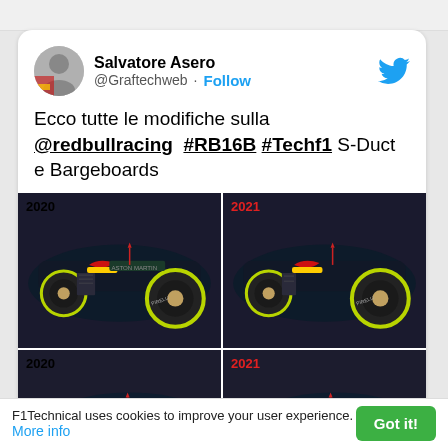[Figure (screenshot): Twitter/social media post by Salvatore Asero (@Graftechweb) showing comparison photos of Red Bull Racing RB16B F1 car from 2020 and 2021, discussing S-Duct and Bargeboards modifications]
Salvatore Asero @Graftechweb · Follow
Ecco tutte le modifiche sulla @redbullracing  #RB16B #Techf1 S-Duct e Bargeboards
F1Technical uses cookies to improve your user experience. More info
Got it!